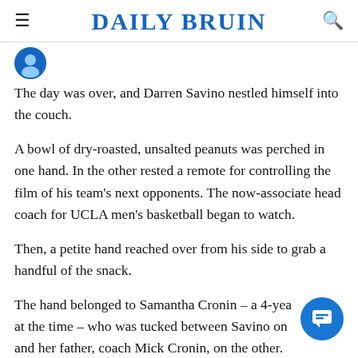DAILY BRUIN
The day was over, and Darren Savino nestled himself into the couch.
A bowl of dry-roasted, unsalted peanuts was perched in one hand. In the other rested a remote for controlling the film of his team's next opponents. The now-associate head coach for UCLA men's basketball began to watch.
Then, a petite hand reached over from his side to grab a handful of the snack.
The hand belonged to Samantha Cronin – a 4-year at the time – who was tucked between Savino on side and her father, coach Mick Cronin, on the other.